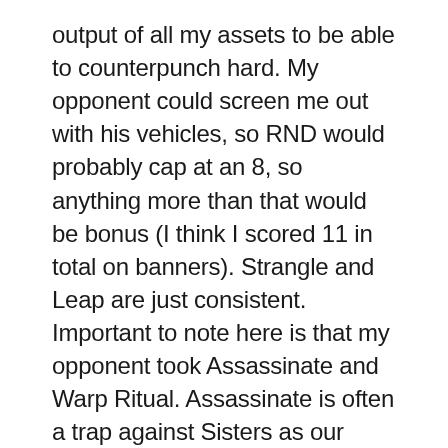output of all my assets to be able to counterpunch hard. My opponent could screen me out with his vehicles, so RND would probably cap at an 8, so anything more than that would be bonus (I think I scored 11 in total on banners). Strangle and Leap are just consistent. Important to note here is that my opponent took Assassinate and Warp Ritual. Assassinate is often a trap against Sisters as our characters rarely die. I could deny him secondary just by hiding my characters (which is what I did). Warp Ritual is risky against Sisters due to the denies. I knew if I just killed his Psykers and used my deny strat I could limit his ability to score it. I knew this was going to be